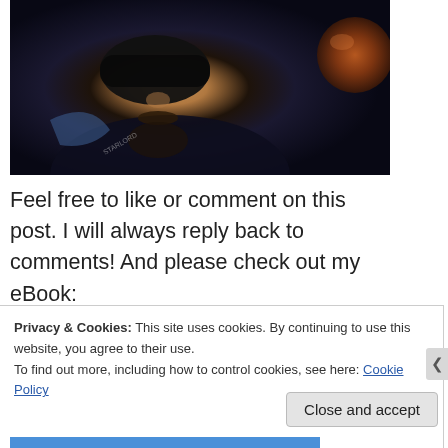[Figure (photo): Close-up portrait photo of a man with dark sunglasses/eye cover, beard, and dark clothing. A round dark reddish-brown object visible in the upper right corner. Dark, moody lighting with blue tones.]
Feel free to like or comment on this post. I will always reply back to comments! And please check out my eBook:
Privacy & Cookies: This site uses cookies. By continuing to use this website, you agree to their use.
To find out more, including how to control cookies, see here: Cookie Policy
Close and accept